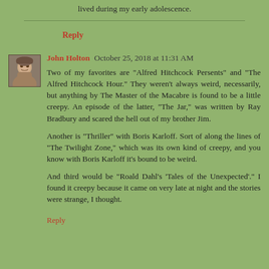lived during my early adolescence.
Reply
John Holton October 25, 2018 at 11:31 AM
Two of my favorites are "Alfred Hitchcock Persents" and "The Alfred Hitchcock Hour." They weren't always weird, necessarily, but anything by The Master of the Macabre is found to be a little creepy. An episode of the latter, "The Jar," was written by Ray Bradbury and scared the hell out of my brother Jim.
Another is "Thriller" with Boris Karloff. Sort of along the lines of "The Twilight Zone," which was its own kind of creepy, and you know with Boris Karloff it's bound to be weird.
And third would be "Roald Dahl's 'Tales of the Unexpected'." I found it creepy because it came on very late at night and the stories were strange, I thought.
Reply